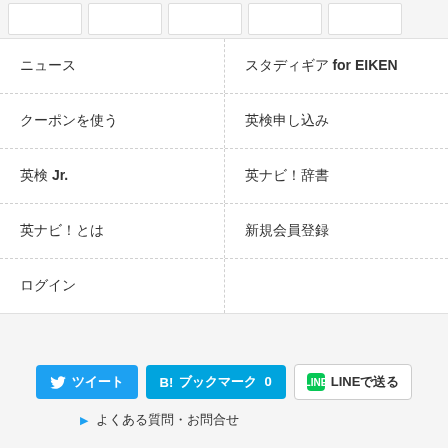[Figure (screenshot): Top strip showing thumbnail images of content cards]
| ニュース | スタディギア for EIKEN |
| クーポンを使う | 英検申し込み |
| 英検 Jr. | 英ナビ！辞書 |
| 英ナビ！とは | 新規会員登録 |
| ログイン |  |
[Figure (screenshot): Social share buttons: Twitter share, B! Bookmark 0, LINE で送る]
▶ よくある質問・お問合せ
▶ 利用規約・個人情報の取扱
▶ 個人情報保護方針